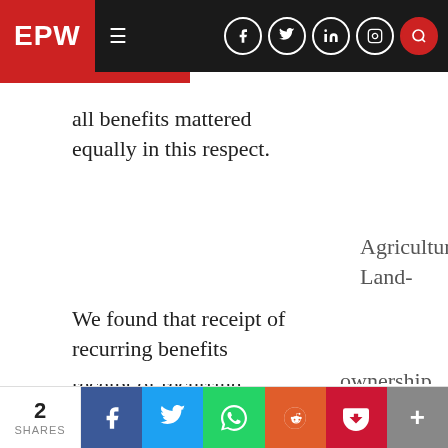EPW
all benefits mattered equally in this respect.
Agricultural Land-
Attending
Participat
We found that receipt of recurring benefits
ownership
Political Meetings
in Campaign
2 SHARES